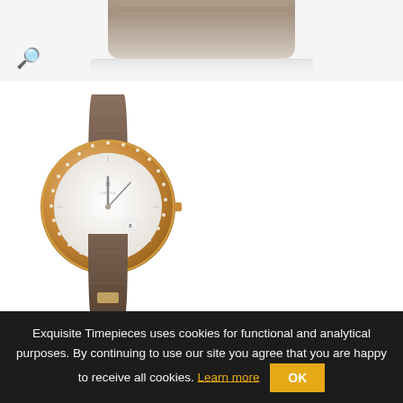[Figure (photo): Close-up of a brown crocodile leather watch strap, top portion cropped at the top of the image]
[Figure (photo): Omega De Ville Sedna Gold luxury watch with rose gold diamond-set bezel and brown crocodile leather strap, white mother-of-pearl dial]
Reference Number: 432.58.40.21.05.003
Omega De Ville Sedna Gold
Exquisite Timepieces uses cookies for functional and analytical purposes. By continuing to use our site you agree that you are happy to receive all cookies. Learn more  OK